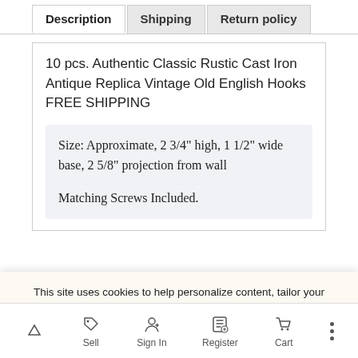Description	Shipping	Return policy
10 pcs. Authentic Classic Rustic Cast Iron Antique Replica Vintage Old English Hooks FREE SHIPPING
Size: Approximate, 2 3/4" high, 1 1/2" wide base, 2 5/8" projection from wall

Matching Screws Included.
This site uses cookies to help personalize content, tailor your experience and to keep you logged in if you register. By continuing to use this site, you are consenting to our use of cookies.
Accept
Cookie usage
Customer Questions & Answers
Sell   Sign In   Register   Cart